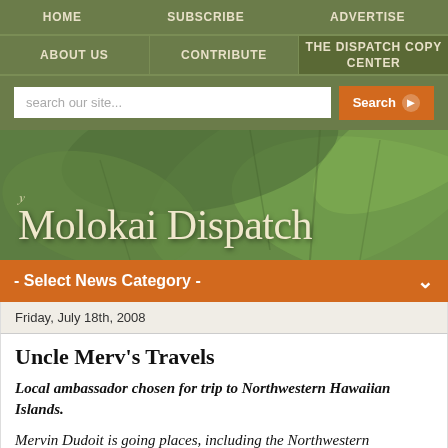HOME | SUBSCRIBE | ADVERTISE
ABOUT US | CONTRIBUTE | THE DISPATCH COPY CENTER
[Figure (screenshot): Search bar with text input 'search our site...' and orange Search button]
[Figure (logo): The Molokai Dispatch banner logo with green tropical leaf background]
- Select News Category -
Friday, July 18th, 2008
Uncle Merv's Travels
Local ambassador chosen for trip to Northwestern Hawaiian Islands.
Mervin Dudoit is going places, including the Northwestern